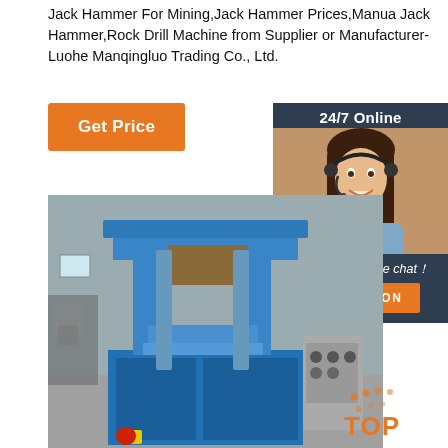Jack Hammer For Mining,Jack Hammer Prices,Manua Jack Hammer,Rock Drill Machine from Supplier or Manufacturer-Luohe Manqingluo Trading Co., Ltd.
[Figure (other): Orange 'Get Price' button]
[Figure (other): 24/7 Online chat widget with woman wearing headset, 'Click here for free chat!' text and orange QUOTATION button on dark navy background]
[Figure (photo): Blue industrial press/hydraulic machine in a factory setting]
[Figure (logo): Orange TOP logo with dot pattern in bottom right corner]